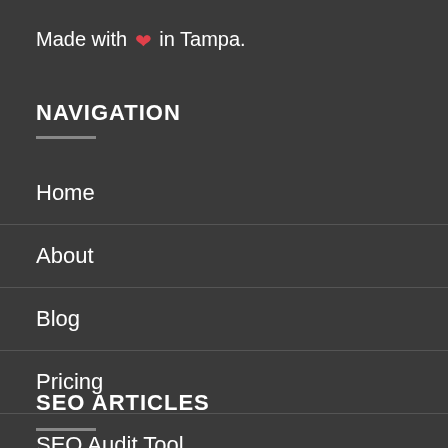Made with ❤ in Tampa.
NAVIGATION
Home
About
Blog
Pricing
SEO Audit Tool
SEO Analysis Tool
SEO ARTICLES